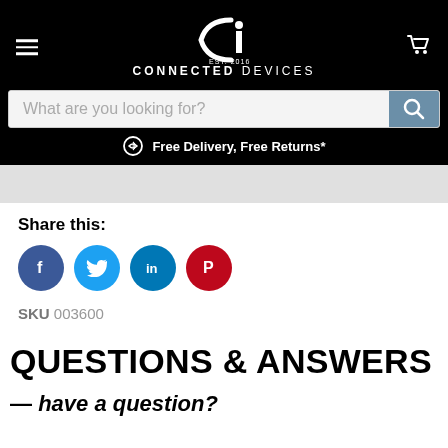CONNECTED DEVICES — EST. 2016
What are you looking for?
Free Delivery, Free Returns*
Share this:
[Figure (infographic): Social share icons: Facebook (blue circle with f), Twitter (light blue circle with bird), LinkedIn (blue circle with in), Pinterest (red circle with P)]
SKU 003600
QUESTIONS & ANSWERS